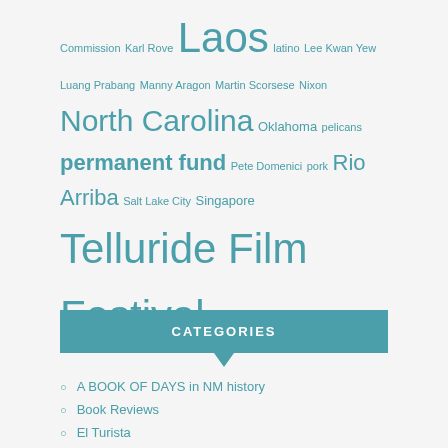Commission Karl Rove Laos latino Lee Kwan Yew Luang Prabang Manny Aragon Martin Scorsese Nixon North Carolina Oklahoma pelicans permanent fund Pete Domenici pork Rio Arriba Salt Lake City Singapore Telluride Film Festival
CATEGORIES
A BOOK OF DAYS in NM history
Book Reviews
El Turista
Ends of the Earth
Himalayan Kingdoms
New Mexico Politics
Pandemic